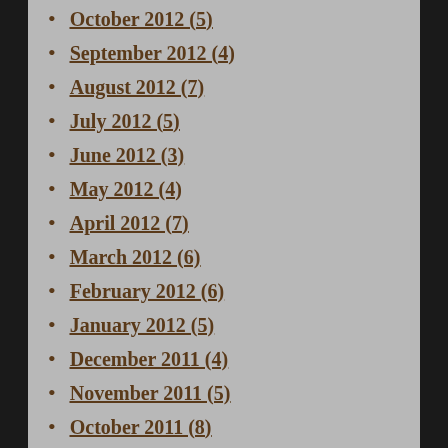October 2012 (5)
September 2012 (4)
August 2012 (7)
July 2012 (5)
June 2012 (3)
May 2012 (4)
April 2012 (7)
March 2012 (6)
February 2012 (6)
January 2012 (5)
December 2011 (4)
November 2011 (5)
October 2011 (8)
September 2011 (6)
August 2011 (8)
July 2011 (2)